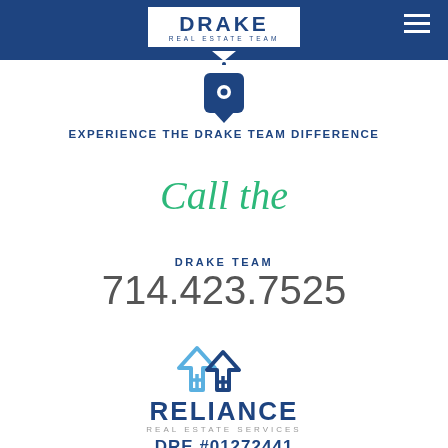[Figure (logo): Drake Real Estate Team logo in white box on dark blue header bar]
[Figure (logo): Location pin icon in dark blue]
EXPERIENCE THE DRAKE TEAM DIFFERENCE
Call the
DRAKE TEAM
714.423.7525
[Figure (logo): Reliance Real Estate Services logo with house arrow icon]
RELIANCE
REAL ESTATE SERVICES
DRE #01272441